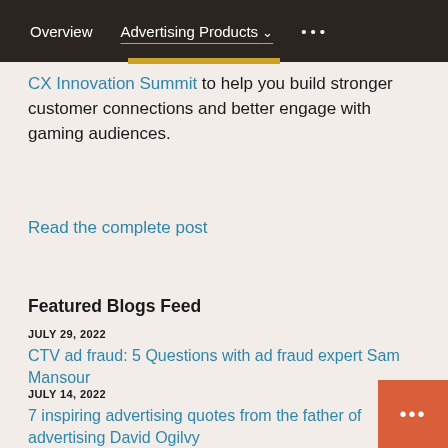Overview   Advertising Products ∨   • • •
CX Innovation Summit to help you build stronger customer connections and better engage with gaming audiences.
Read the complete post
Featured Blogs Feed
JULY 29, 2022
CTV ad fraud: 5 Questions with ad fraud expert Sam Mansour
JULY 14, 2022
7 inspiring advertising quotes from the father of advertising David Ogilvy